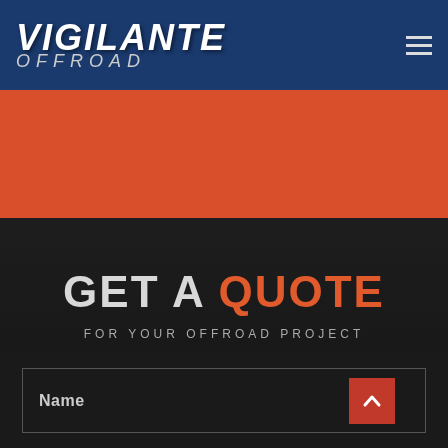VIGILANTE OFFROAD
GET A QUOTE
FOR YOUR OFFROAD PROJECT
Name